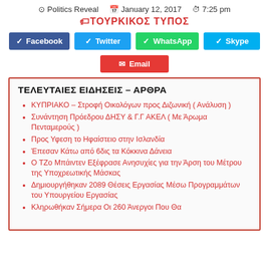Politics Reveal   January 12, 2017   7:25 pm
ΤΟΥΡΚΙΚΟΣ ΤΥΠΟΣ
[Figure (infographic): Social share buttons: Facebook, Twitter, WhatsApp, Skype, Email]
ΤΕΛΕΥΤΑΙΕΣ ΕΙΔΗΣΕΙΣ – ΑΡΘΡΑ
ΚΥΠΡΙΑΚΟ – Στροφή Οικολόγων προς Διζωνική ( Ανάλυση )
Συνάντηση Πρόεδρου ΔΗΣΥ & Γ.Γ ΑΚΕΛ ( Με Άρωμα Πενταμερούς )
Προς Υφεση το Ηφαίστειο στην Ισλανδία
Έπεσαν Κάτω από 6δις τα Κόκκινα Δάνεια
Ο ΤΖο Μπάιντεν Εξέφρασε Ανησυχίες για την Άρση του Μέτρου της Υποχρεωτικής Μάσκας
Δημιουργήθηκαν 2089 Θέσεις Εργασίας Μέσω Προγραμμάτων του Υπουργείου Εργασίας
Κληρωθήκαν Σήμερα Οι 260 Άνεργοι  Που Θα